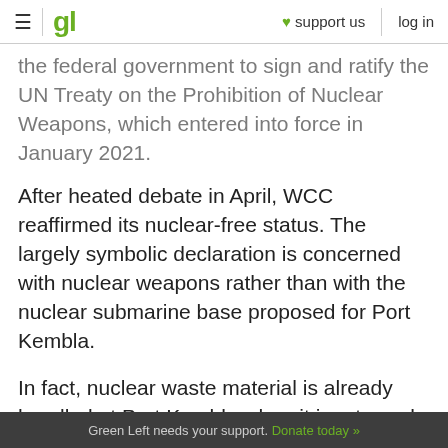gl | ♥ support us | log in
the federal government to sign and ratify the UN Treaty on the Prohibition of Nuclear Weapons, which entered into force in January 2021.
After heated debate in April, WCC reaffirmed its nuclear-free status. The largely symbolic declaration is concerned with nuclear weapons rather than with the nuclear submarine base proposed for Port Kembla.
In fact, nuclear waste material is already handled at Port Kembla when it is returned to Australia after reprocessing in Britain. A shipment was received the same day as protesters rallied in
Green Left needs your support. Donate today »